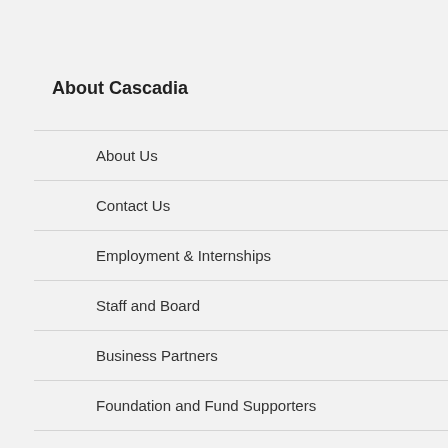About Cascadia
About Us
Contact Us
Employment & Internships
Staff and Board
Business Partners
Foundation and Fund Supporters
Volunteer